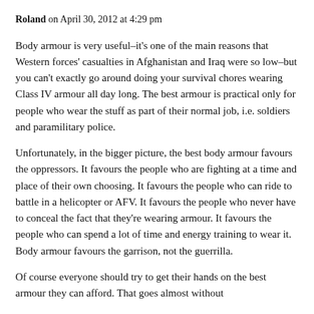Roland on April 30, 2012 at 4:29 pm
Body armour is very useful–it's one of the main reasons that Western forces' casualties in Afghanistan and Iraq were so low–but you can't exactly go around doing your survival chores wearing Class IV armour all day long. The best armour is practical only for people who wear the stuff as part of their normal job, i.e. soldiers and paramilitary police.
Unfortunately, in the bigger picture, the best body armour favours the oppressors. It favours the people who are fighting at a time and place of their own choosing. It favours the people who can ride to battle in a helicopter or AFV. It favours the people who never have to conceal the fact that they're wearing armour. It favours the people who can spend a lot of time and energy training to wear it. Body armour favours the garrison, not the guerrilla.
Of course everyone should try to get their hands on the best armour they can afford. That goes almost without